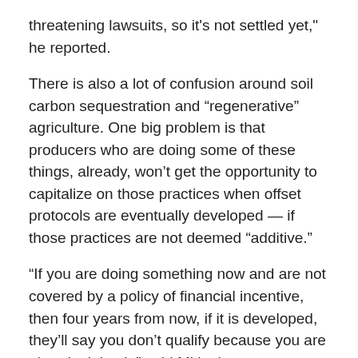threatening lawsuits, so it’s not settled yet,” he reported.
There is also a lot of confusion around soil carbon sequestration and “regenerative” agriculture. One big problem is that producers who are doing some of these things, already, won’t get the opportunity to capitalize on those practices when offset protocols are eventually developed — if those practices are not deemed “additive.”
“If you are doing something now and are not covered by a policy of financial incentive, then four years from now, if it is developed, they’ll say you don’t qualify because you are already doing it,” said Mitloehner.
“They are calling it ‘additionality.’ It’s about the change to doing it to qualify. That seems crazy, but it’s like if you bought an electric vehicle 10 years ago when there was